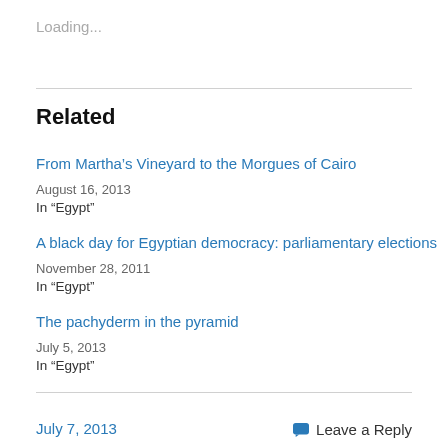Loading...
Related
From Martha’s Vineyard to the Morgues of Cairo
August 16, 2013
In "Egypt"
A black day for Egyptian democracy: parliamentary elections
November 28, 2011
In "Egypt"
The pachyderm in the pyramid
July 5, 2013
In "Egypt"
July 7, 2013    Leave a Reply